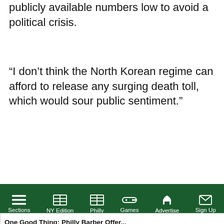publicly available numbers low to avoid a political crisis.
“I don’t think the North Korean regime can afford to release any surging death toll, which would sour public sentiment.”
Gauging COVID deaths from outside North Korea would
[Figure (screenshot): Embedded video overlay popup with title bar 'One Good Thing: Philly Barber Offer...' with an X close button. Below it a video thumbnail showing a barber event with a tent and sign reading 'Serving the People'. A yellow mute button and blue circle play indicator are visible.]
ty figures long after h does not conduct Joong-sik, a professor University Gil Medical
Sections   NY Edition   Philly   Games   Advertise   Sign Up